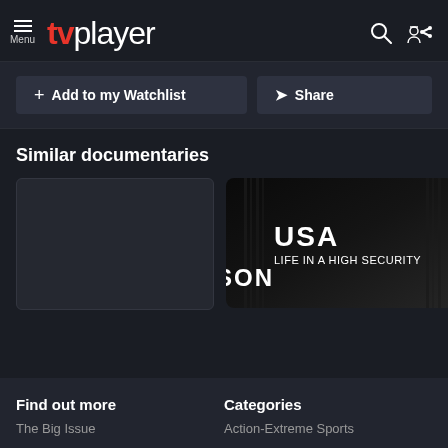tvplayer — Menu, Search, Sign In
+ Add to my Watchlist
Share
Similar documentaries
[Figure (screenshot): Blank dark thumbnail placeholder for a documentary]
[Figure (screenshot): Documentary thumbnail: USA Life in a High Security Prison — dark prison bars background with title text]
Find out more
Categories
The Big Issue
Action-Extreme Sports